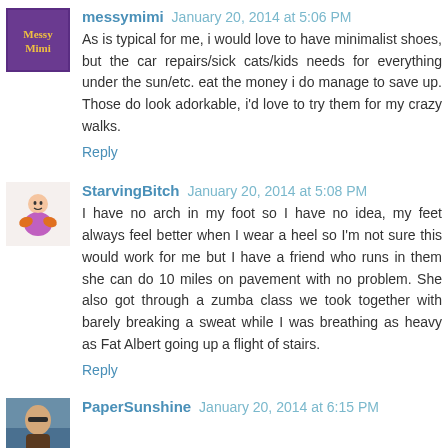messymimi  January 20, 2014 at 5:06 PM
As is typical for me, i would love to have minimalist shoes, but the car repairs/sick cats/kids needs for everything under the sun/etc. eat the money i do manage to save up. Those do look adorkable, i'd love to try them for my crazy walks.
Reply
StarvingBitch  January 20, 2014 at 5:08 PM
I have no arch in my foot so I have no idea, my feet always feel better when I wear a heel so I'm not sure this would work for me but I have a friend who runs in them she can do 10 miles on pavement with no problem. She also got through a zumba class we took together with barely breaking a sweat while I was breathing as heavy as Fat Albert going up a flight of stairs.
Reply
PaperSunshine  January 20, 2014 at 6:15 PM